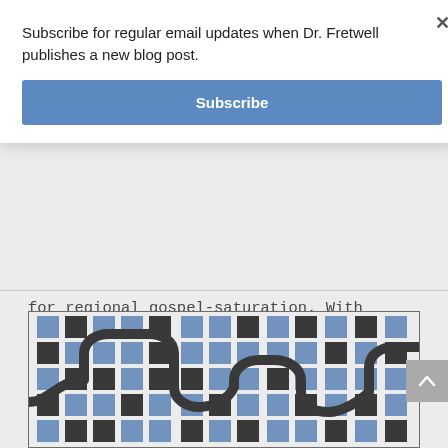Subscribe for regular email updates when Dr. Fretwell publishes a new blog post.
Subscribe
for regional gospel-saturation. With committed oikos' that thrive and learn together for spiritual growth in Christ, missional communities are made up of a network of believers impacting a specific area or community.
[Figure (illustration): Abstract diagram showing a winding black path/road weaving through a grid of blue and black squares, representing a network or community map.]